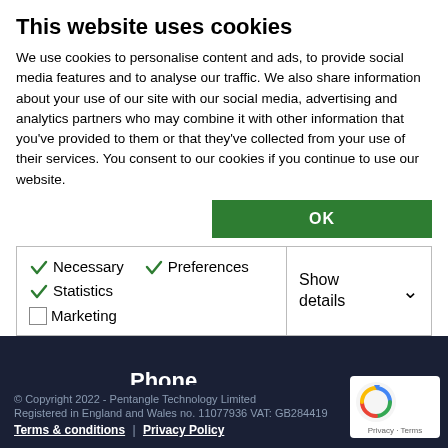This website uses cookies
We use cookies to personalise content and ads, to provide social media features and to analyse our traffic. We also share information about your use of our site with our social media, advertising and analytics partners who may combine it with other information that you've provided to them or that they've collected from your use of their services. You consent to our cookies if you continue to use our website.
OK
✓ Necessary  ✓ Preferences  ✓ Statistics  Marketing  Show details
herepe pontangle technology.co.uk
Phone
01844 319185
© Copyright 2022 - Pentangle Technology Limited
Registered in England and Wales no. 11077936 VAT: GB284419
Terms & conditions | Privacy Policy